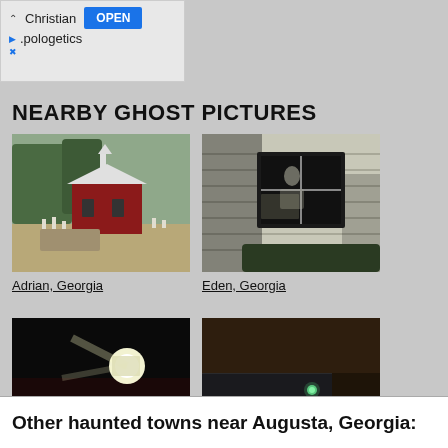[Figure (screenshot): Ad banner showing Christian Apologetics app with OPEN button]
NEARBY GHOST PICTURES
[Figure (photo): Photo of a red barn/church building with cemetery in Adrian, Georgia]
Adrian, Georgia
[Figure (photo): Photo of a dark window on a white clapboard house in Eden, Georgia]
Eden, Georgia
[Figure (photo): Dark nighttime photo with a bright light/orb in Cadwell, Georgia]
Cadwell, Georgia
[Figure (photo): Nighttime road photo with small green light/orb in Eatonton, Georgia]
Eatonton, Georgia
Other haunted towns near Augusta, Georgia: